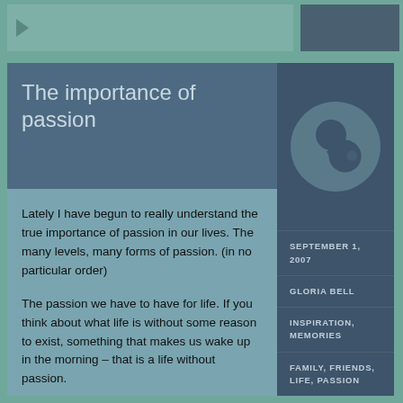The importance of passion
[Figure (illustration): Pin/pushpin icon inside a dark circle on a dark blue background]
Lately I have begun to really understand the true importance of passion in our lives.  The many levels, many forms of passion.  (in no particular order)
The passion we have to have for life.  If you think about what life is without some reason to exist, something that makes us wake up in the morning – that is a life without passion.
The passion of the world around us.  Just think for a moment how amazing it is that we exist, that a flower is the color it
SEPTEMBER 1, 2007
GLORIA BELL
INSPIRATION, MEMORIES
FAMILY, FRIENDS, LIFE, PASSION